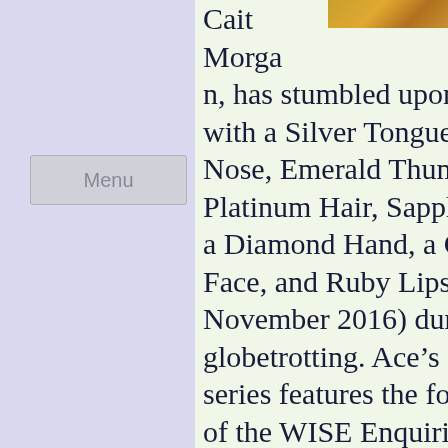[Figure (photo): Partial photo strip visible in upper right corner, showing warm golden/amber tones]
Cait
Morga
n, has stumbled upon Co:
with a Silver Tongue, Gol
Nose, Emerald Thumb,
Platinum Hair, Sapphire
a Diamond Hand, a Garn
Face, and Ruby Lips (ava
November 2016) during 
globetrotting. Ace's other
series features the four w
of the WISE Enquiries Ag
(one Welsh, one Irish, on
Scottish, and one English
solve quintessentially Br
cases from their stately h
based office in rural Wal
bestselling author, Cathy